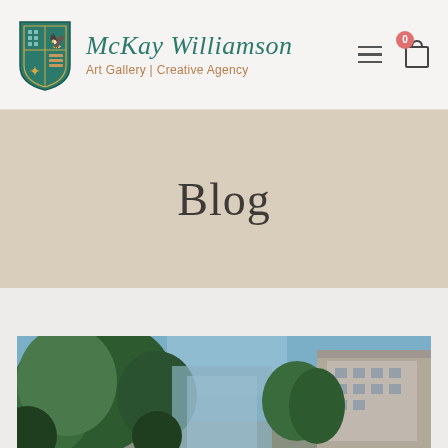McKay Williamson Art Gallery | Creative Agency
Blog
[Figure (photo): Outdoor urban scene with large green trees in foreground and a historic building visible on the right side against a blue sky]